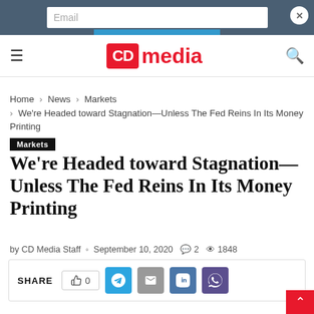CD media — website header with navigation
Home > News > Markets > We're Headed toward Stagnation—Unless The Fed Reins In Its Money Printing
Markets
We're Headed toward Stagnation—Unless The Fed Reins In Its Money Printing
by CD Media Staff  September 10, 2020  2  1848
SHARE  0  [social share buttons: Telegram, Email, VK, Viber]